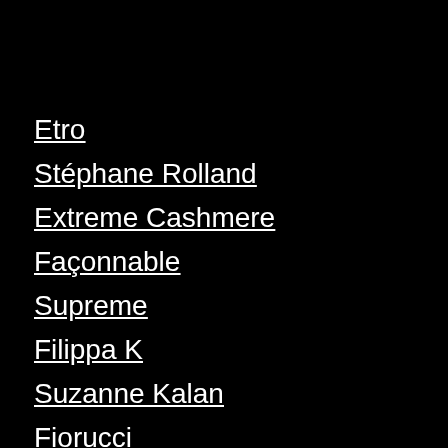Etro
Stéphane Rolland
Extreme Cashmere
Façonnable
Supreme
Filippa K
Suzanne Kalan
Fiorucci
Sydney Evan
Frame